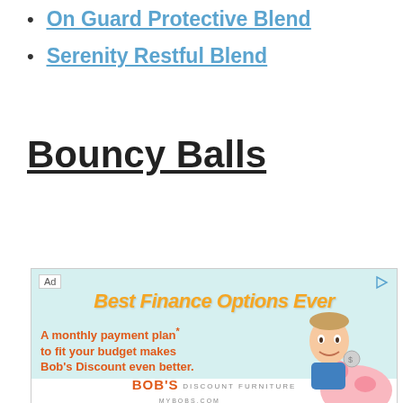On Guard Protective Blend
Serenity Restful Blend
Bouncy Balls
[Figure (screenshot): Advertisement for Bob's Discount Furniture. Shows 'Ad' label, play/arrow icon, title 'Best Finance Options Ever' in orange italic script on light teal background, body text 'A monthly payment plan* to fit your budget makes Bob's Discount even better.' in orange bold text. Footnote '*WITH CREDIT APPROVAL'. Bob's Discount Furniture logo and MYBOBS.COM at bottom. Cartoon man with piggy bank on the right.]